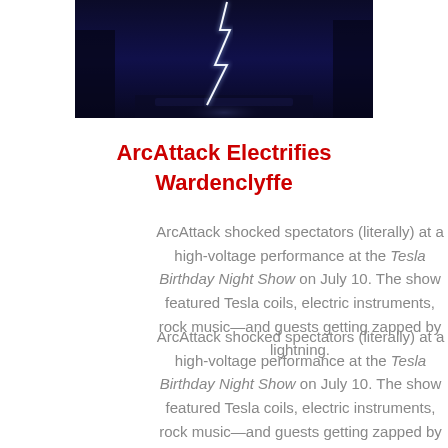[Figure (photo): Dark night photo showing a lightning bolt or Tesla coil spark in a dim, bluish-dark setting at Wardenclyffe.]
ArcAttack Electrifies Wardenclyffe
ArcAttack shocked spectators (literally) at a high-voltage performance at the Tesla Birthday Night Show on July 10. The show featured Tesla coils, electric instruments, rock music—and guests getting zapped by lightning.
Watch video now.